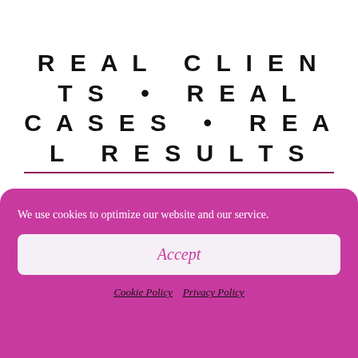REAL CLIENTS • REAL CASES • REAL RESULTS
[Figure (illustration): Purple circle avatar/profile icon with a lighter purple center circle, partially visible above cookie banner]
We use cookies to optimize our website and our service.
Accept
Cookie Policy   Privacy Policy